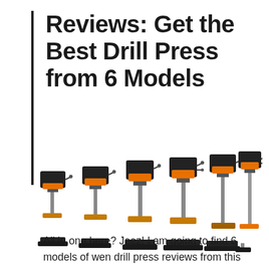Reviews: Get the Best Drill Press from 6 Models
[Figure (photo): Six WEN drill press models shown side by side in a row, ranging from shorter benchtop models to taller floor-standing models. All feature black and orange color scheme.]
All in one here? Jeez! I am going to find 6 models of wen drill press reviews from this article? What a surprise it is! Hello my dear